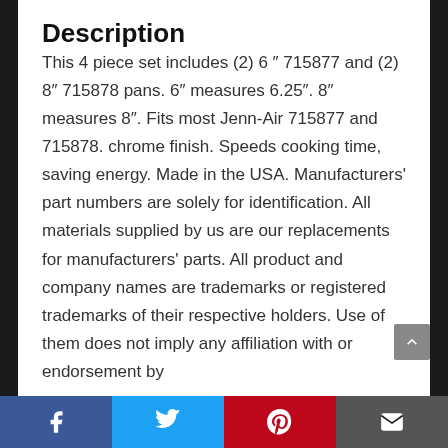Description
This 4 piece set includes (2) 6 ″ 715877 and (2) 8″ 715878 pans. 6″ measures 6.25″. 8″ measures 8″. Fits most Jenn-Air 715877 and 715878. chrome finish. Speeds cooking time, saving energy. Made in the USA. Manufacturers’ part numbers are solely for identification. All materials supplied by us are our replacements for manufacturers’ parts. All product and company names are trademarks or registered trademarks of their respective holders. Use of them does not imply any affiliation with or endorsement by